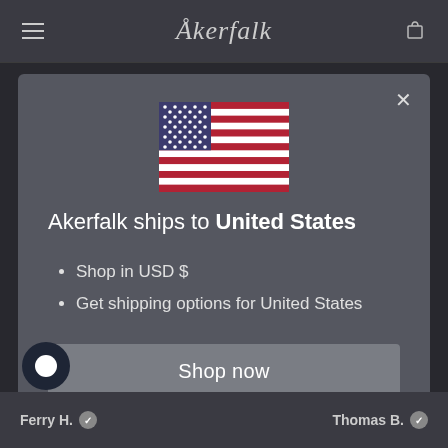Åkerfalk
[Figure (illustration): US flag emoji / illustration]
Akerfalk ships to United States
Shop in USD $
Get shipping options for United States
Shop now
Change shipping country
Ferry H. ✓  Thomas B. ✓